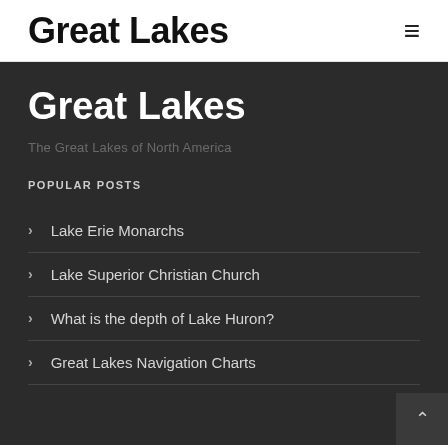Great Lakes
Great Lakes
The Great Lakes of North America
POPULAR POSTS
Lake Erie Monarchs
Lake Superior Christian Church
What is the depth of Lake Huron?
Great Lakes Navigation Charts